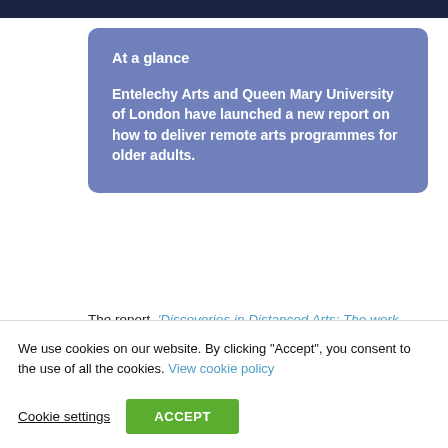At a glance
Entelechy Arts and Queen Mary University of London have launched a new report on how to deliver remote arts programmes for older adults.
The report, 'Discoveries in Distanced Arts: The work, wonder, and wear of remote creative programmes',
We use cookies on our website. By clicking "Accept", you consent to the use of all the cookies. View cookie policy
Cookie settings
ACCEPT